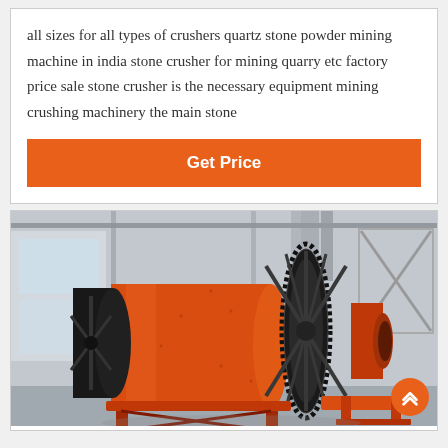all sizes for all types of crushers quartz stone powder mining machine in india stone crusher for mining quarry etc factory price sale stone crusher is the necessary equipment mining crushing machinery the main stone
Get Price
[Figure (photo): Large orange industrial ball mill machine inside a factory/warehouse. The machine features a large cylindrical drum with a prominent gear ring around it, mounted on an orange frame. The background shows a grey industrial building interior.]